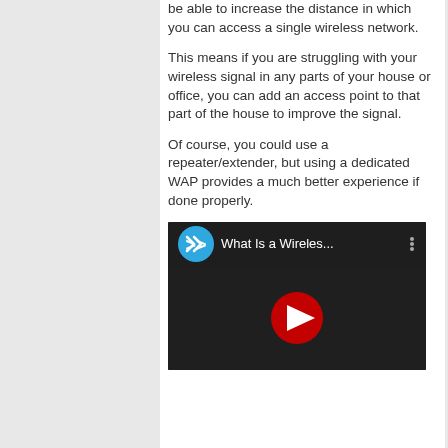be able to increase the distance in which you can access a single wireless network.
This means if you are struggling with your wireless signal in any parts of your house or office, you can add an access point to that part of the house to improve the signal.
Of course, you could use a repeater/extender, but using a dedicated WAP provides a much better experience if done properly.
[Figure (screenshot): YouTube video thumbnail showing 'What Is a Wireles...' with a blue circle arrow logo, YouTube play button, and dark background with a person in the background.]